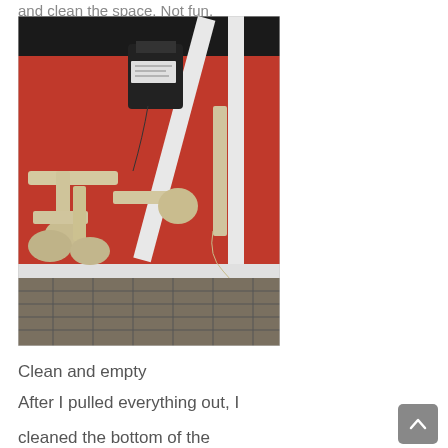and clean the space. Not fun.
[Figure (photo): Photo taken under a sink or cabinet showing PVC plumbing pipes, fittings, and a pump or motor unit against a red-painted interior background. The bottom portion shows tiled flooring. White cabinet frame dividers are visible.]
Clean and empty
After I pulled everything out, I
cleaned the bottom of the